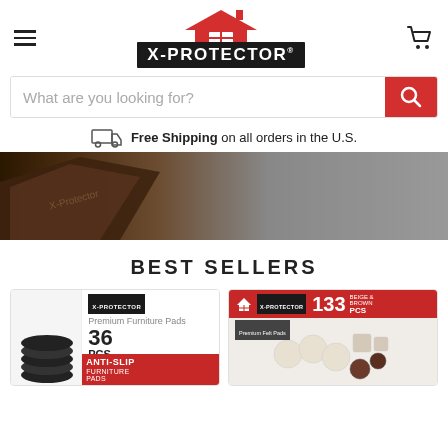[Figure (logo): X-PROTECTOR brand logo with red house icon and black rectangle with white text]
What are you looking for?
Free Shipping on all orders in the U.S.
[Figure (photo): X-Protector product packaging shown at angle against grey background]
BEST SELLERS
[Figure (photo): X-Protector 36 PCS Anti-Slip Furniture Pads product box with dark round pads]
[Figure (photo): X-Protector 133 PCS Premium Felt Pads product box with white and brown pads]